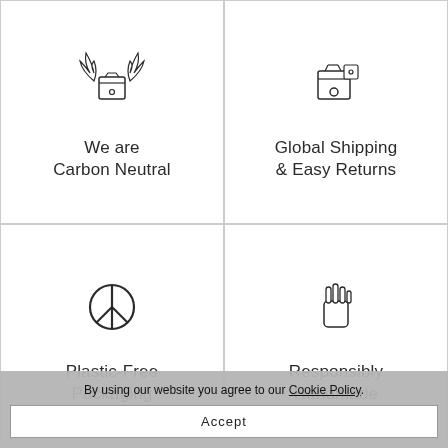[Figure (illustration): Flying box with wings icon representing carbon neutral shipping]
We are
Carbon Neutral
[Figure (illustration): Cardboard box with label icon representing global shipping]
Global Shipping
& Easy Returns
[Figure (illustration): Peace symbol icon representing plastic-free packaging]
Plastic-Free
Packaging
[Figure (illustration): Hand icon representing responsibly handmade]
Responsibly
Handmade
By using our website you agree to our Cookie Policy.
Accept